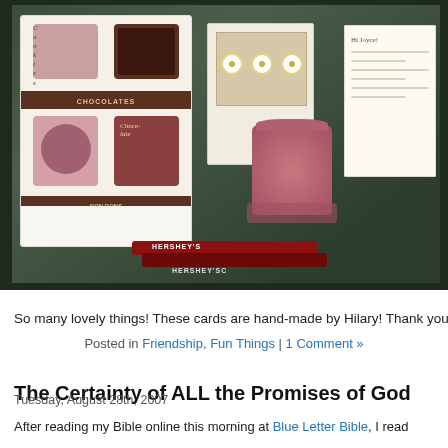[Figure (photo): A photo showing gift items on a dark green surface: a chocolate-themed kitchen towel, handmade greeting cards, a pink candle, a handwritten note, and Hershey chocolate bars.]
So many lovely things! These cards are hand-made by Hilary! Thank you ag
Posted in Friendship, Fun Things | 1 Comment »
The Certainty of ALL the Promises of God
Tuesday, August 28th, 2007
After reading my Bible online this morning at Blue Letter Bible, I read